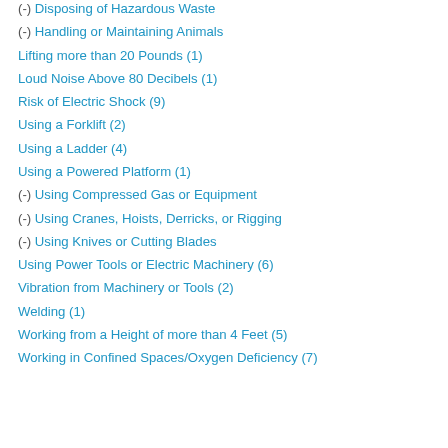(-) Disposing of Hazardous Waste
(-) Handling or Maintaining Animals
Lifting more than 20 Pounds (1)
Loud Noise Above 80 Decibels (1)
Risk of Electric Shock (9)
Using a Forklift (2)
Using a Ladder (4)
Using a Powered Platform (1)
(-) Using Compressed Gas or Equipment
(-) Using Cranes, Hoists, Derricks, or Rigging
(-) Using Knives or Cutting Blades
Using Power Tools or Electric Machinery (6)
Vibration from Machinery or Tools (2)
Welding (1)
Working from a Height of more than 4 Feet (5)
Working in Confined Spaces/Oxygen Deficiency (7)